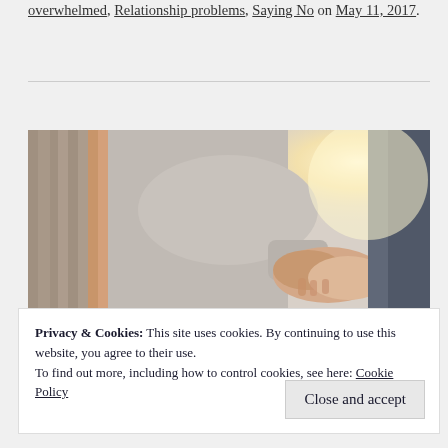overwhelmed, Relationship problems, Saying No on May 11, 2017.
[Figure (photo): Two people holding hands, one wearing a knitted sweater and scarf, the other in a dark jacket, with a bright light in the background.]
Privacy & Cookies: This site uses cookies. By continuing to use this website, you agree to their use.
To find out more, including how to control cookies, see here: Cookie Policy
Close and accept